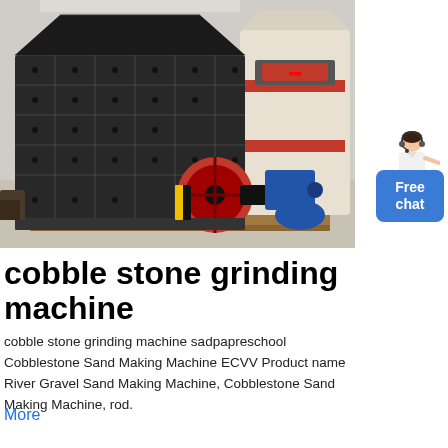[Figure (photo): Industrial stone grinding/crushing machine (impact crusher) in a factory setting. Large black metal machine with red flywheel, beside a cone crusher in white/red. Indoor warehouse environment.]
[Figure (illustration): Small avatar of a woman in white jacket, customer service representative]
Free chat
cobble stone grinding machine
cobble stone grinding machine sadpapreschool Cobblestone Sand Making Machine ECVV Product name River Gravel Sand Making Machine, Cobblestone Sand Making Machine, rod.
More